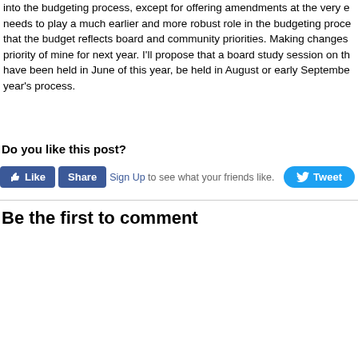into the budgeting process, except for offering amendments at the very e needs to play a much earlier and more robust role in the budgeting proce that the budget reflects board and community priorities. Making changes priority of mine for next year. I'll propose that a board study session on th have been held in June of this year, be held in August or early Septembe year's process.
Do you like this post?
[Figure (screenshot): Social media buttons: Facebook Like, Share buttons and Twitter Tweet button with 'Sign Up to see what your friends like.' text]
Be the first to comment
[Figure (screenshot): Comment input box with 'Post your comment' button]